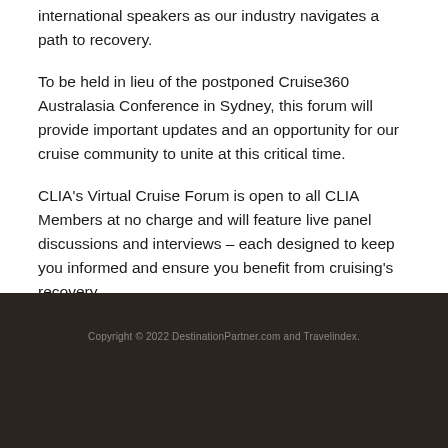international speakers as our industry navigates a path to recovery.
To be held in lieu of the postponed Cruise360 Australasia Conference in Sydney, this forum will provide important updates and an opportunity for our cruise community to unite at this critical time.
CLIA's Virtual Cruise Forum is open to all CLIA Members at no charge and will feature live panel discussions and interviews – each designed to keep you informed and ensure you benefit from cruising's recovery.
Copyright © 2022 DestinationPartner.com and Travelindex.